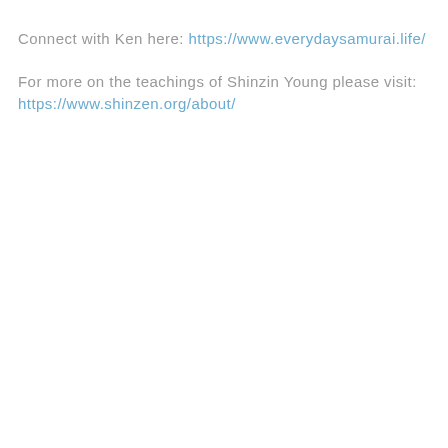Connect with Ken here: https://www.everydaysamurai.life/
For more on the teachings of Shinzin Young please visit: https://www.shinzen.org/about/